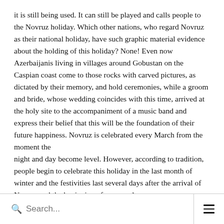it is still being used. It can still be played and calls people to the Novruz holiday. Which other nations, who regard Novruz as their national holiday, have such graphic material evidence about the holding of this holiday? None! Even now Azerbaijanis living in villages around Gobustan on the Caspian coast come to those rocks with carved pictures, as dictated by their memory, and hold ceremonies, while a groom and bride, whose wedding coincides with this time, arrived at the holy site to the accompaniment of a music band and express their belief that this will be the foundation of their future happiness. Novruz is celebrated every March from the moment the night and day become level. However, according to tradition, people begin to celebrate this holiday in the last month of winter and the festivities last several days after the arrival of Novruz and the beginning of a new solar year.
Since it is the brightest exponent of the thirst for freedom in the national spirit, it is no accident that during the years when
Search...